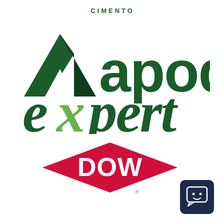[Figure (logo): Cimento Apodi Expert logo: dark green mountain/arrow icon on left, 'apodi' in dark green bold text, 'CIMENTO' in small caps above, 'expert' in large dark green italic font with green X accent]
[Figure (logo): DOW logo: red diamond shape with white 'DOW' text and registered trademark symbol below]
[Figure (logo): Dark navy blue rounded square chat/bot icon with a smiley face robot chat bubble symbol]